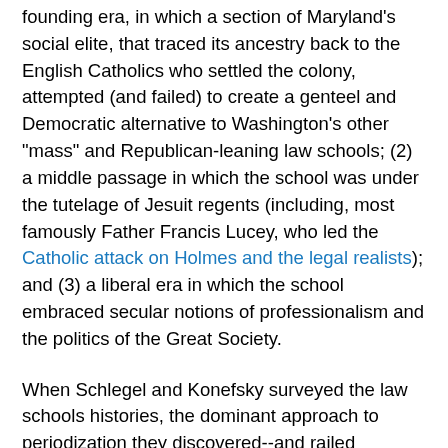founding era, in which a section of Maryland's social elite, that traced its ancestry back to the English Catholics who settled the colony, attempted (and failed) to create a genteel and Democratic alternative to Washington's other "mass" and Republican-leaning law schools; (2) a middle passage in which the school was under the tutelage of Jesuit regents (including, most famously Father Francis Lucey, who led the Catholic attack on Holmes and the legal realists); and (3) a liberal era in which the school embraced secular notions of professionalism and the politics of the Great Society.
When Schlegel and Konefsky surveyed the law schools histories, the dominant approach to periodization they discovered--and railed against--was what might be termed the "Harvard" or "Langdellian" synthesis. That is, authors organized their accounts in terms of their schools' gradual adoption of the package of reforms that Christopher Columbus Langdell brought to the Harvard Law School, including a three-year, sequentially arranged curriculum of graded course; a full-time, scholarship-producing curriculum; rigorous entrance requirements; the case method of instruction. Robert Stevens demonstrated the power of the